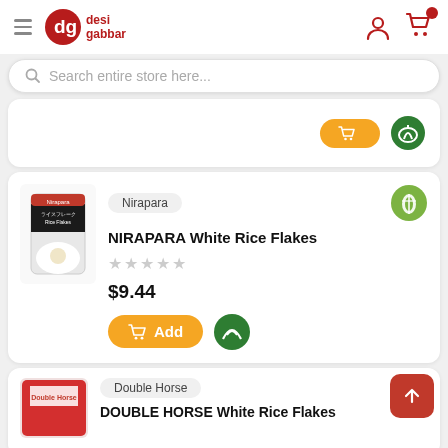desi gabbar — navigation header with logo, hamburger menu, user icon, and cart icon
Search entire store here...
[Figure (screenshot): Partial product card showing orange Add button and green veg badge from previous product listing]
Nirapara
NIRAPARA White Rice Flakes
$9.44
[Figure (photo): Product image of NIRAPARA White Rice Flakes bag]
Double Horse
DOUBLE HORSE White Rice Flakes